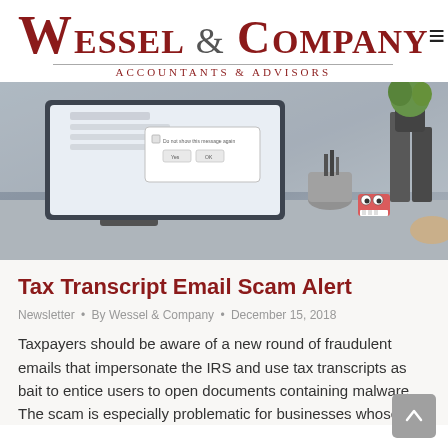Wessel & Company — Accountants & Advisors
[Figure (photo): Office desk scene with a computer monitor showing a dialog box, pens in a cup holder, a small toy with googly eyes, binders, and a plant in the background, with a person's hand visible at the right edge.]
Tax Transcript Email Scam Alert
Newsletter • By Wessel & Company • December 15, 2018
Taxpayers should be aware of a new round of fraudulent emails that impersonate the IRS and use tax transcripts as bait to entice users to open documents containing malware. The scam is especially problematic for businesses whose